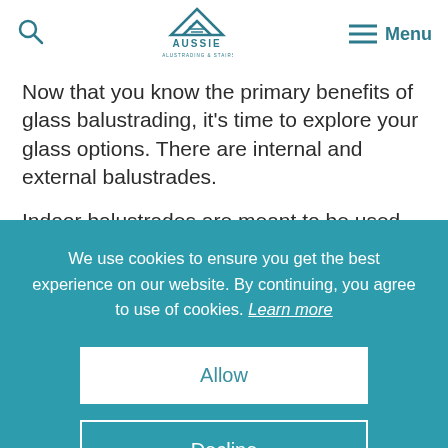Aussie Balustrading & Stairs — Search, Logo, Menu
Now that you know the primary benefits of glass balustrading, it's time to explore your glass options. There are internal and external balustrades.
Indoor balustrades are meant to be used indoors
We use cookies to ensure you get the best experience on our website. By continuing, you agree to use of cookies. Learn more
Allow
Decline